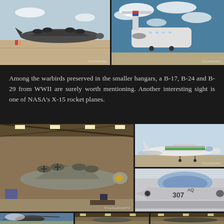[Figure (photo): Large WWII-era bomber aircraft (B-24 or B-29) parked on desert tarmac under a sunny sky]
[Figure (photo): Tail section of a commercial or military jet aircraft with T-tail design, parked outdoors under partly cloudy sky]
Among the warbirds preserved in the smaller hangars, a B-17, B-24 and B-29 from WWII are surely worth mentioning. Another interesting sight is one of NASA's X-15 rocket planes.
[Figure (photo): Interior of a large aircraft museum hangar showing a B-17 Flying Fortress bomber and other exhibits]
[Figure (photo): Military jet aircraft (F-8 Crusader or similar) parked on outdoor tarmac]
[Figure (photo): Close-up of a military jet aircraft nose and cockpit section, tail number 307 visible]
[Figure (photo): Helicopter on outdoor display under blue sky]
[Figure (photo): Interior of aircraft museum hangar with exhibits]
[Figure (photo): Interior of aircraft museum hangar with large aircraft]